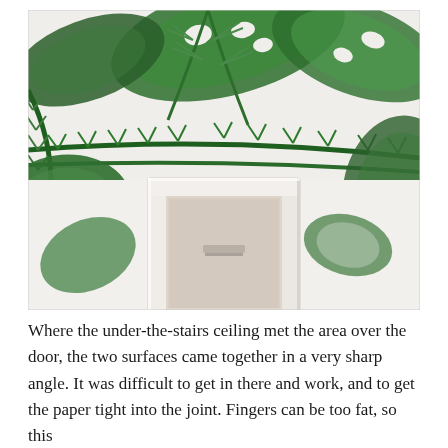[Figure (photo): Interior photo looking up at a ceiling and wall area with tropical leaf wallpaper (large green monstera and palm leaves on white background). A white-painted door frame is visible below, with a doorway opening showing a peach/beige interior beyond. The ceiling and upper wall surfaces are covered with the botanical print wallpaper meeting at a sharp angle.]
Where the under-the-stairs ceiling met the area over the door, the two surfaces came together in a very sharp angle. It was difficult to get in there and work, and to get the paper tight into the joint. Fingers can be too fat, so this